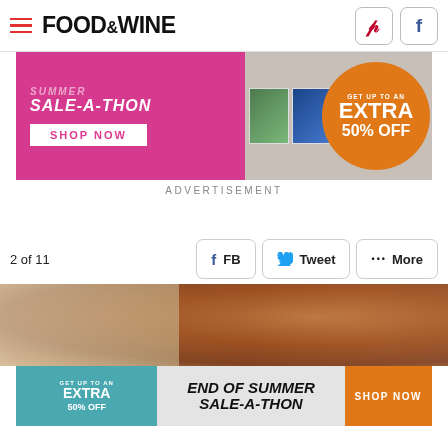FOOD&WINE
[Figure (screenshot): Summer Sale-A-Thon advertisement banner with pink background, 'SHOP NOW' button, magazine covers, and orange circle with 'GET UP TO AN EXTRA 50% OFF']
ADVERTISEMENT
[Figure (infographic): Social sharing buttons: FB, Tweet, More. Count label: 2 of 11]
[Figure (photo): Food photo showing grilled or roasted chicken/meat on a tray, close-up view]
[Figure (screenshot): End of Summer Sale-A-Thon banner ad with teal left section showing 'GET UP TO AN EXTRA 50% OFF', center showing 'END OF SUMMER SALE-A-THON', orange SHOP NOW button]